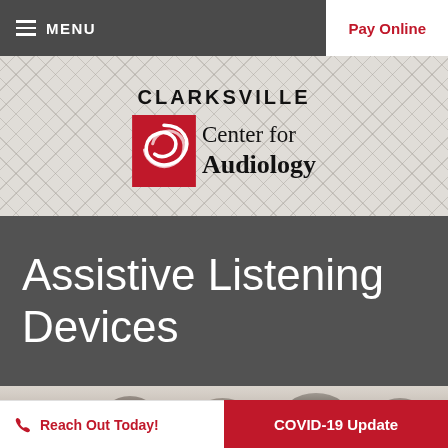MENU | Pay Online
[Figure (logo): Clarksville Center for Audiology logo with red swirl icon on diamond-pattern background]
Assistive Listening Devices
[Figure (photo): People sitting in a meeting/consultation setting, cropped to show heads and upper bodies]
Reach Out Today!
COVID-19 Update